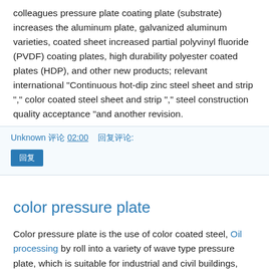colleagues pressure plate coating plate (substrate) increases the aluminum plate, galvanized aluminum varieties, coated sheet increased partial polyvinyl fluoride (PVDF) coating plates, high durability polyester coated plates (HDP), and other new products; relevant international "Continuous hot-dip zinc steel sheet and strip "," color coated steel sheet and strip "," steel construction quality acceptance "and another revision.
Unknown 评论 02:00    回复评论:
回复
color pressure plate
Color pressure plate is the use of color coated steel, Oil processing by roll into a variety of wave type pressure plate, which is suitable for industrial and civil buildings, warehouse, special construction, large span steel structure housing the roof, walls and interior and exterior decoration, with light